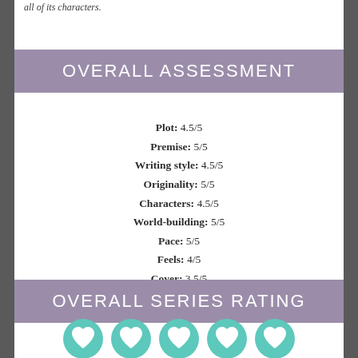all of its characters.
OVERALL ASSESSMENT
Plot: 4.5/5
Premise: 5/5
Writing style: 4.5/5
Originality: 5/5
Characters: 4.5/5
World-building: 5/5
Pace: 5/5
Feels: 4/5
Cover: 3.5/5
Overall rating: 5/5
OVERALL SERIES RATING
[Figure (illustration): Five teal/mint heart icons in circles representing an overall series rating of 5 out of 5]